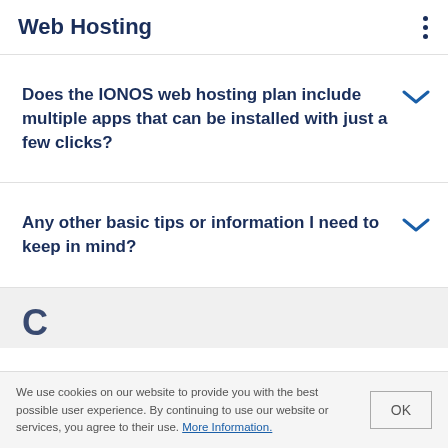Web Hosting
Does the IONOS web hosting plan include multiple apps that can be installed with just a few clicks?
Any other basic tips or information I need to keep in mind?
We use cookies on our website to provide you with the best possible user experience. By continuing to use our website or services, you agree to their use. More Information.